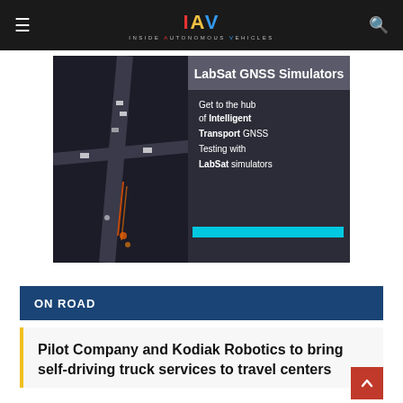≡   IAV Inside Autonomous Vehicles   🔍
[Figure (infographic): LabSat GNSS Simulators advertisement banner. Dark background with aerial view of traffic intersection on left. Right side shows text: 'LabSat GNSS Simulators — Get to the hub of Intelligent Transport GNSS Testing with LabSat simulators' with a cyan/blue horizontal bar at bottom.]
ON ROAD
Pilot Company and Kodiak Robotics to bring self-driving truck services to travel centers